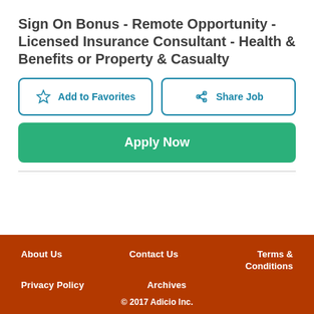Sign On Bonus - Remote Opportunity - Licensed Insurance Consultant - Health & Benefits or Property & Casualty
Add to Favorites
Share Job
Apply Now
About Us   Contact Us   Terms & Conditions   Privacy Policy   Archives   © 2017 Adicio Inc.